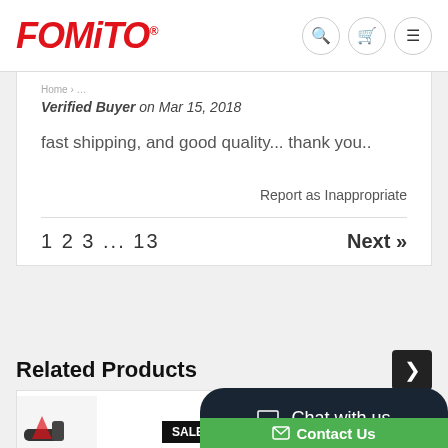FOMITO
Verified Buyer on Mar 15, 2018
fast shipping, and good quality... thank you..
Report as Inappropriate
1 2 3 ... 13   Next »
Related Products
[Figure (photo): Product image with SALE badge]
[Figure (screenshot): Chat with us / Contact Us overlay widget]